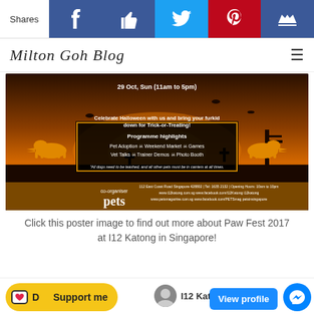Shares | Facebook | Like | Twitter | Pinterest | Crown
Milton Goh Blog
[Figure (illustration): Halloween-themed pet event poster for Paw Fest 2017 at I12 Katong, Singapore. Dark orange and black Halloween graveyard scene with orange cats. Text: '29 Oct, Sun (11am to 5pm) — Celebrate Halloween with us and bring your furkid down for trick-or-treating! Programme Highlights: Pet Adoption, Weekend Market, Games, Vet Talks, Trainer Demos, Photo Booth. All dogs need to be leashed, and all other pets must be in carriers at all times.' Co-organiser: Pets. I12 Katong address and social media links shown.]
Click this poster image to find out more about Paw Fest 2017 at I12 Katong in Singapore!
Support me
View profile
I12 Katong